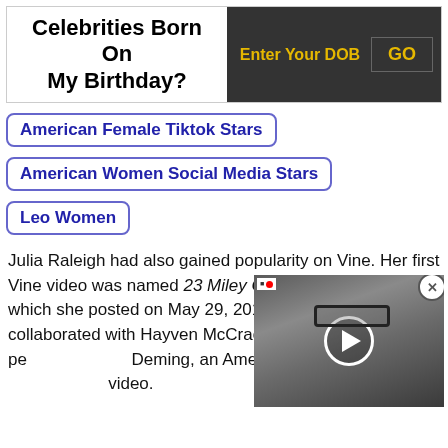Celebrities Born On My Birthday?
American Female Tiktok Stars
American Women Social Media Stars
Leo Women
Julia Raleigh had also gained popularity on Vine. Her first Vine video was named 23 Miley Cyrus Choreography, which she posted on May 29, 2014. Previously, she had collaborated with Hayven McCracken, a Vine-video pe... Deming, an American singer ... video.
[Figure (screenshot): Video overlay showing a man with glasses, with a play button circle and a close (X) button, overlaid on the bottom-right of the article text]